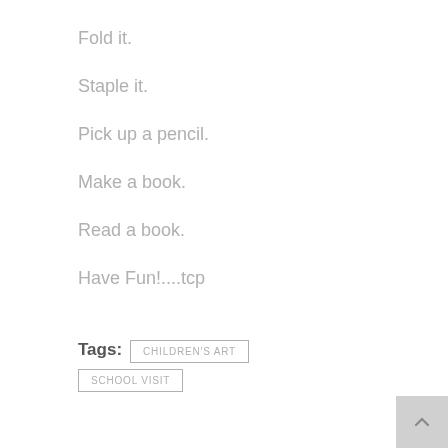Fold it.
Staple it.
Pick up a pencil.
Make a book.
Read a book.
Have Fun!....tcp
Tags: CHILDREN'S ART  SCHOOL VISIT